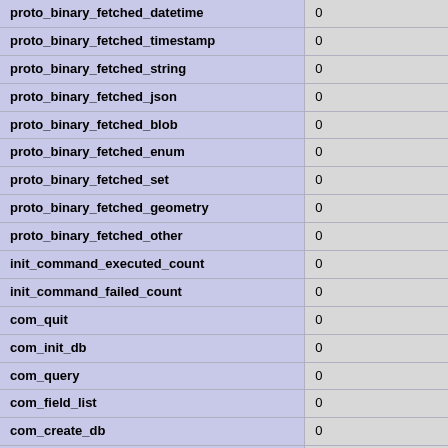| proto_binary_fetched_datetime | 0 |
| proto_binary_fetched_timestamp | 0 |
| proto_binary_fetched_string | 0 |
| proto_binary_fetched_json | 0 |
| proto_binary_fetched_blob | 0 |
| proto_binary_fetched_enum | 0 |
| proto_binary_fetched_set | 0 |
| proto_binary_fetched_geometry | 0 |
| proto_binary_fetched_other | 0 |
| init_command_executed_count | 0 |
| init_command_failed_count | 0 |
| com_quit | 0 |
| com_init_db | 0 |
| com_query | 0 |
| com_field_list | 0 |
| com_create_db | 0 |
| com_drop_db | 0 |
| com_refresh | 0 |
| com_shutdown | 0 |
| com_statistics | 0 |